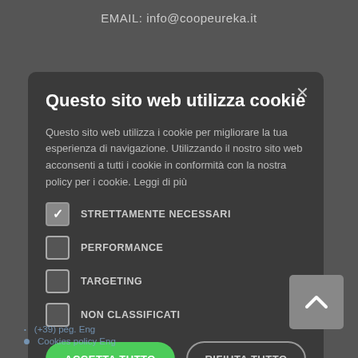EMAIL: info@coopeureka.it
[Figure (screenshot): Cookie consent modal dialog on a dark website background. Modal contains title 'Questo sito web utilizza cookie', body text explaining cookie usage, four checkboxes (STRETTAMENTE NECESSARI checked, PERFORMANCE unchecked, TARGETING unchecked, NON CLASSIFICATI unchecked), and two buttons: ACCETTA TUTTO (green) and RIFIUTA TUTTO (outlined). A scroll-to-top button is visible at bottom right. Background shows faded Italian website text.]